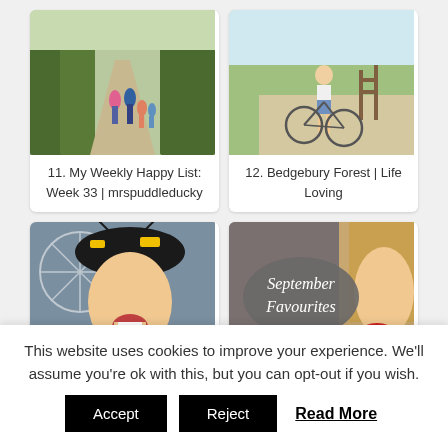[Figure (photo): Family walking along a path in a park, seen from behind, trees on both sides]
11. My Weekly Happy List: Week 33 | mrspuddleducky
[Figure (photo): Woman on a bicycle in a sunny park setting]
12. Bedgebury Forest | Life Loving
[Figure (photo): Person wearing a bee costume hat at what appears to be a fair, with a Ferris wheel in background]
[Figure (photo): Close-up of a woman smiling with September Favourites text overlay on a grey oval]
This website uses cookies to improve your experience. We'll assume you're ok with this, but you can opt-out if you wish.
Accept
Reject
Read More